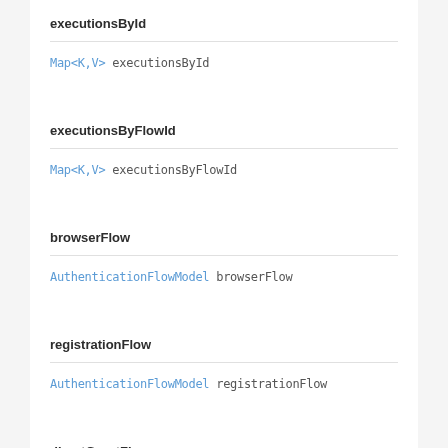executionsById
Map<K,V> executionsById
executionsByFlowId
Map<K,V> executionsByFlowId
browserFlow
AuthenticationFlowModel browserFlow
registrationFlow
AuthenticationFlowModel registrationFlow
directGrantFlow
AuthenticationFlowModel directGrantFlow